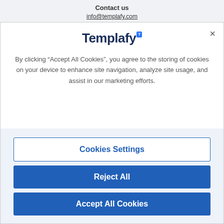Contact us
info@templafy.com
Templafy
By clicking “Accept All Cookies”, you agree to the storing of cookies on your device to enhance site navigation, analyze site usage, and assist in our marketing efforts.
Cookies Settings
Reject All
Accept All Cookies